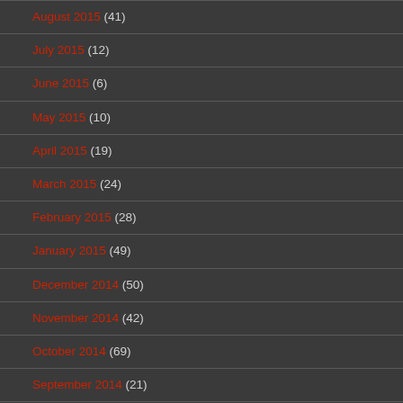August 2015 (41)
July 2015 (12)
June 2015 (6)
May 2015 (10)
April 2015 (19)
March 2015 (24)
February 2015 (28)
January 2015 (49)
December 2014 (50)
November 2014 (42)
October 2014 (69)
September 2014 (21)
August 2014 (36)